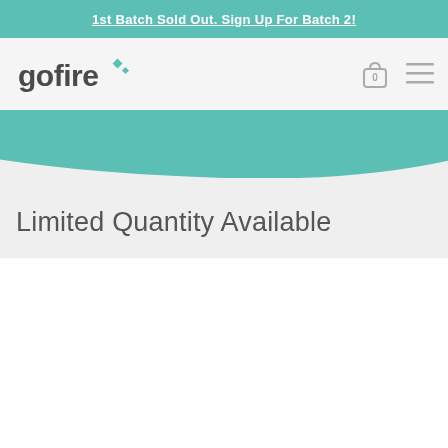1st Batch Sold Out. Sign Up For Batch 2!
[Figure (logo): GoFire logo with teal diamond dots accent]
[Figure (other): Teal curved/pill-shaped button element at top of hero section]
Limited Quantity Available